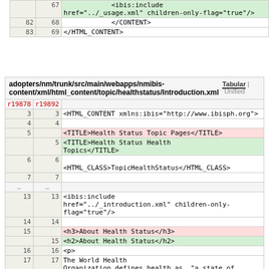|  |  | code |
| --- | --- | --- |
|  | 67 | <ibis:include href="../_usage.xml" children-only-flag="true"/> |
| 82 | 68 | </CONTENT> |
| 83 | 69 | </HTML_CONTENT> |
| r19878 | r19892 |  |
| --- | --- | --- |
| 3 | 3 | <HTML_CONTENT xmlns:ibis="http://www.ibisph.org"> |
| 4 | 4 |  |
| 5 |  | <TITLE>Health Status Topic Pages</TITLE> |
|  | 5 | <TITLE>Health Status Health Topics</TITLE> |
| 6 | 6 | <HTML_CLASS>TopicHealthStatus</HTML_CLASS> |
| 7 | 7 |  |
| ... | ... |  |
| 13 | 13 | <ibis:include href="../_introduction.xml" children-only-flag="true"/> |
| 14 | 14 |  |
| 15 |  | <h3>About Health Status</h3> |
|  | 15 | <h2>About Health Status</h2> |
| 16 | 16 | <p> |
| 17 | 17 | The World Health Organization defines health as, "a state of complete physical, |
| ... | ... |  |
| 64 | 64 | </nav> |
| 65 | 65 |  |
| 66 |  | <h3>Health Topic Data and |